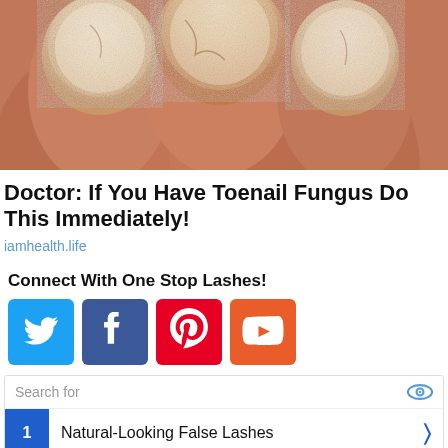[Figure (photo): Close-up photo of toenails with fungal infection showing white/yellowish discoloration and rough texture]
Doctor: If You Have Toenail Fungus Do This Immediately!
iamhealth.life
Connect With One Stop Lashes!
[Figure (infographic): Social media icons: Twitter (blue), Facebook (dark blue), Pinterest (red), YouTube (orange-red)]
Search for
1 Natural-Looking False Lashes
2 Eyelash Growth Treatment